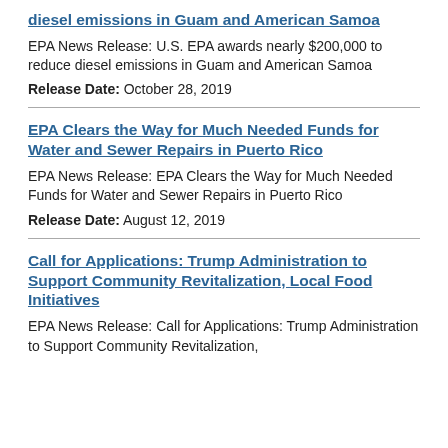diesel emissions in Guam and American Samoa
EPA News Release: U.S. EPA awards nearly $200,000 to reduce diesel emissions in Guam and American Samoa
Release Date: October 28, 2019
EPA Clears the Way for Much Needed Funds for Water and Sewer Repairs in Puerto Rico
EPA News Release: EPA Clears the Way for Much Needed Funds for Water and Sewer Repairs in Puerto Rico
Release Date: August 12, 2019
Call for Applications: Trump Administration to Support Community Revitalization, Local Food Initiatives
EPA News Release: Call for Applications: Trump Administration to Support Community Revitalization,